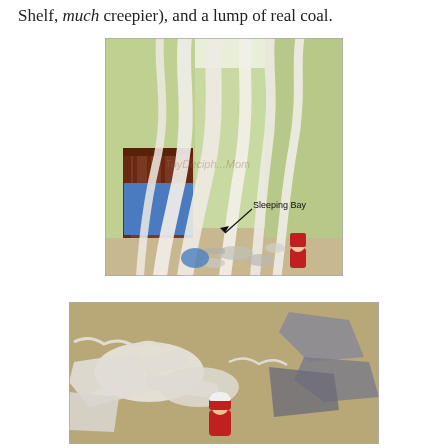Shelf, much creepier), and a lump of real coal.
[Figure (photo): A child's bedroom with green walls, toilet paper or streamers hanging from the ceiling in long strips, a wooden crib on the left side, and various items scattered on the floor. A label arrow points to 'Sleeping Bay'. There is a watermark 'ToyDeciph...Mom' visible.]
[Figure (photo): A close-up photo of the floor showing torn paper/tissue pieces, grey fabric scraps, and what appears to be a small red Santa Claus figure among the mess on carpet.]